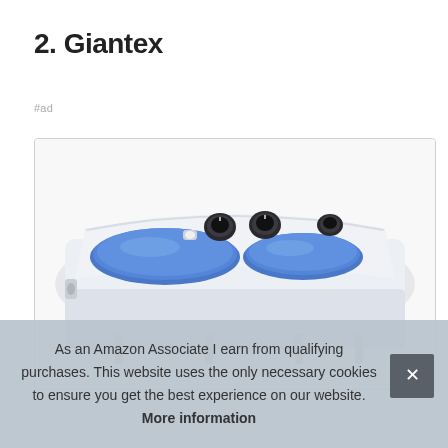2. Giantex
#ad
[Figure (photo): A Giantex portable twin tub washing machine with two blue-lidded compartments and white body with multiple control knobs, shown from above at an angle on a white background.]
As an Amazon Associate I earn from qualifying purchases. This website uses the only necessary cookies to ensure you get the best experience on our website. More information